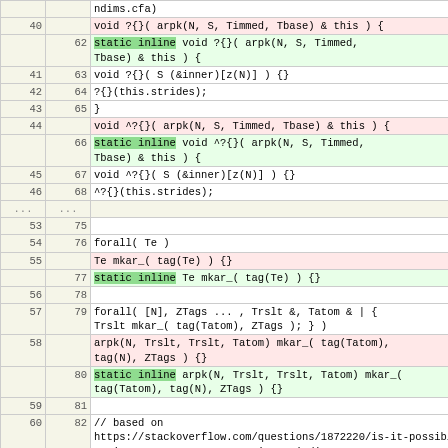| old | new | code |
| --- | --- | --- |
|  |  | ndims.cfa) |
| 40 |  |     void ?{}( arpk(N, S, Timmed, Tbase) & this ) { |
|  | 62 |     static inline void ?{}( arpk(N, S, Timmed, Tbase) & this ) { |
| 41 | 63 |     void ?{}( S (&inner)[z(N)] ) {} |
| 42 | 64 |     ?{}(this.strides); |
| 43 | 65 |     } |
| 44 |  |     void ^?{}( arpk(N, S, Timmed, Tbase) & this ) { |
|  | 66 |     static inline void ^?{}( arpk(N, S, Timmed, Tbase) & this ) { |
| 45 | 67 |     void ^?{}( S (&inner)[z(N)] ) {} |
| 46 | 68 |     ^?{}(this.strides); |
| ... | ... |  |
| 53 | 75 |  |
| 54 | 76 | forall( Te ) |
| 55 |  | Te mkar_( tag(Te) ) {} |
|  | 77 | static inline Te mkar_( tag(Te) ) {} |
| 56 | 78 |  |
| 57 | 79 | forall( [N], ZTags ... , Trslt &, Tatom & | { Trslt mkar_( tag(Tatom), ZTags ); } ) |
| 58 |  | arpk(N, Trslt, Trslt, Tatom) mkar_( tag(Tatom), tag(N), ZTags ) {} |
|  | 80 | static inline arpk(N, Trslt, Trslt, Tatom) mkar_( tag(Tatom), tag(N), ZTags ) {} |
| 59 | 81 |  |
| 60 | 82 | // based on https://stackoverflow.com/questions/1872220/is-it-possible-to-iterate-over-arguments-in-variadic-macros |
| ... | ... |  |
| 90 | 112 |  |